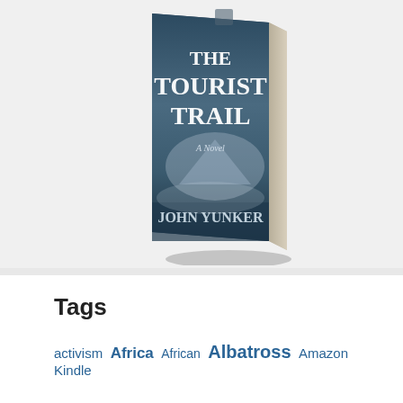[Figure (illustration): 3D rendered book cover of 'The Tourist Trail: A Novel' by John Yunker. The cover has a dark blue-grey moody background with an iceberg or rocky island in a foggy ocean. White serif text reads 'THE TOURIST TRAIL' prominently and 'A Novel' and 'JOHN YUNKER' below. The book is shown at an angle with a visible spine and shadow.]
Tags
activism Africa African Albatross Amazon Kindle